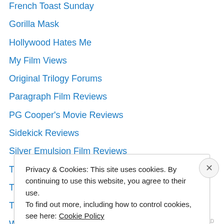French Toast Sunday
Gorilla Mask
Hollywood Hates Me
My Film Views
Original Trilogy Forums
Paragraph Film Reviews
PG Cooper's Movie Reviews
Sidekick Reviews
Silver Emulsion Film Reviews
The Best Page in the Universe
The Warning Sign
Time Well Spent
Walk Like Heroes
Privacy & Cookies: This site uses cookies. By continuing to use this website, you agree to their use.
To find out more, including how to control cookies, see here: Cookie Policy
Close and accept